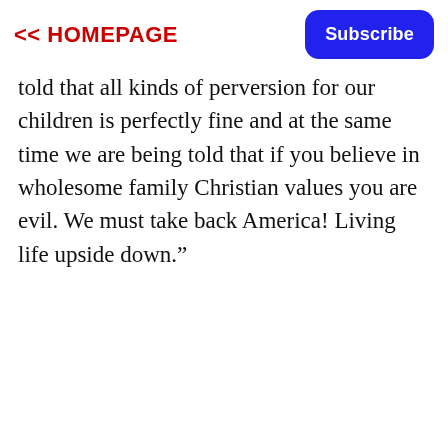<< HOMEPAGE
Subscribe
told that all kinds of perversion for our children is perfectly fine and at the same time we are being told that if you believe in wholesome family Christian values you are evil. We must take back America! Living life upside down.”